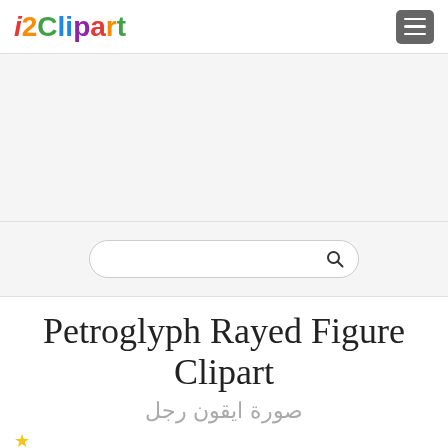i2Clipart
[Figure (other): Gray banner/advertisement area]
[Figure (other): Search box with magnifying glass icon]
Petroglyph Rayed Figure Clipart
صورة ايقون رجل